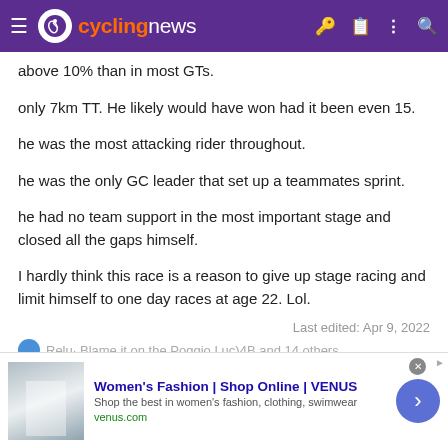cyclingnews
above 10% than in most GTs.
only 7km TT. He likely would have won had it been even 15.
he was the most attacking rider throughout.
he was the only GC leader that set up a teammates sprint.
he had no team support in the most important stage and closed all the gaps himself.
I hardly think this race is a reason to give up stage racing and limit himself to one day races at age 22. Lol.
Last edited: Apr 9, 2022
[Figure (screenshot): Advertisement banner: Women's Fashion | Shop Online | VENUS. Shop the best in women's fashion, clothing, swimwear. venus.com]